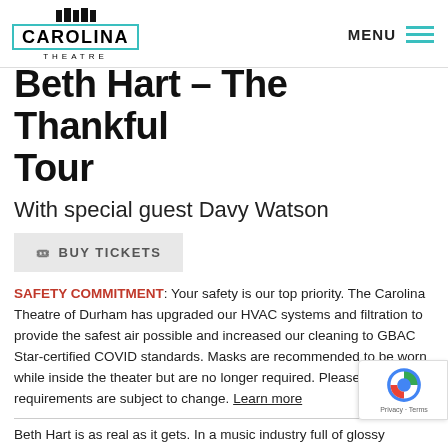CAROLINA THEATRE — MENU
Beth Hart – The Thankful Tour
With special guest Davy Watson
BUY TICKETS
SAFETY COMMITMENT: Your safety is our top priority. The Carolina Theatre of Durham has upgraded our HVAC systems and filtration to provide the safest air possible and increased our cleaning to GBAC Star-certified COVID standards. Masks are recommended to be worn while inside the theater but are no longer required. Please note, entry requirements are subject to change. Learn more
Beth Hart is as real as it gets. In a music industry full of glossy